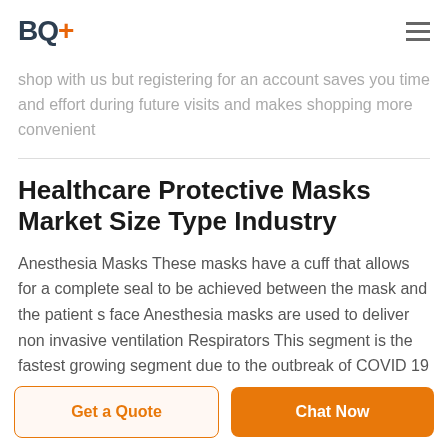BQ+
shop with us but registering for an account saves you time and effort during future visits and makes shopping more convenient
Healthcare Protective Masks Market Size Type Industry
Anesthesia Masks These masks have a cuff that allows for a complete seal to be achieved between the mask and the patient s face Anesthesia masks are used to deliver non invasive ventilation Respirators This segment is the fastest growing segment due to the outbreak of COVID 19
Get a Quote
Chat Now